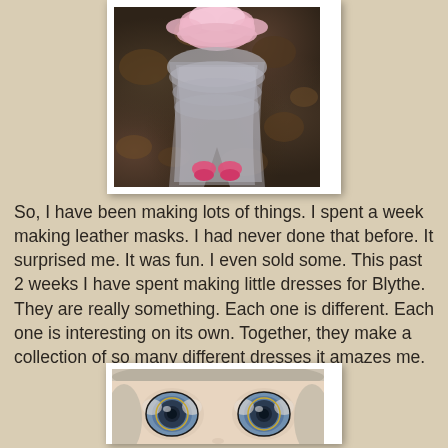[Figure (photo): A Blythe doll wearing a pink ruffled top and gray tulle skirt with pink shoes, photographed outdoors against a background of fallen autumn leaves]
So, I have been making lots of things. I spent a week making leather masks. I had never done that before. It surprised me. It was fun. I even sold some. This past 2 weeks I have spent making little dresses for Blythe. They are really something. Each one is different. Each one is interesting on its own. Together, they make a collection of so many different dresses it amazes me.
[Figure (photo): Close-up of a Blythe doll's face showing large blue-gray eyes with visible pupil detail, and blonde/gray hair visible at the top and sides]